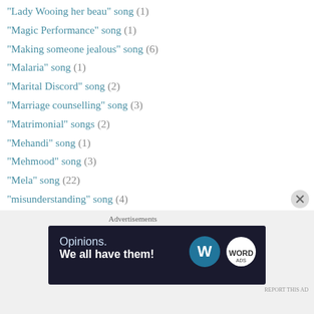"Lady Wooing her beau" song (1)
"Magic Performance" song (1)
"Making someone jealous" song (6)
"Malaria" song (1)
"Marital Discord" song (2)
"Marriage counselling" song (3)
"Matrimonial" songs (2)
"Mehandi" song (1)
"Mehmood" song (3)
"Mela" song (22)
"misunderstanding" song (4)
"Mocking someone" song (1)
"Money" song (29)
"Mouth Organ" song (1)
"Movie Names" song (1)
"Murga"song (1)
"Musaafir" song (2)
Advertisements
[Figure (other): WordPress advertisement banner: 'Opinions. We all have them!' with WordPress and another logo on dark background]